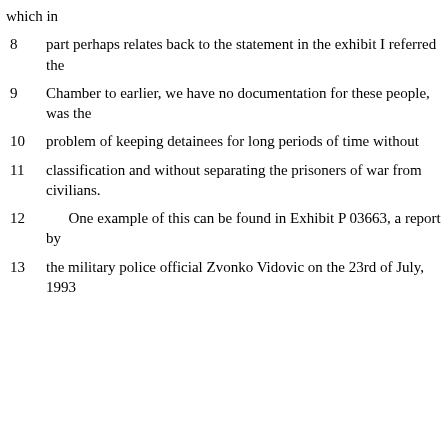which in
8    part perhaps relates back to the statement in the exhibit I referred the
9    Chamber to earlier, we have no documentation for these people, was the
10    problem of keeping detainees for long periods of time without
11    classification and without separating the prisoners of war from civilians.
12    One example of this can be found in Exhibit P 03663, a report by
13    the military police official Zvonko Vidovic on the 23rd of July, 1993